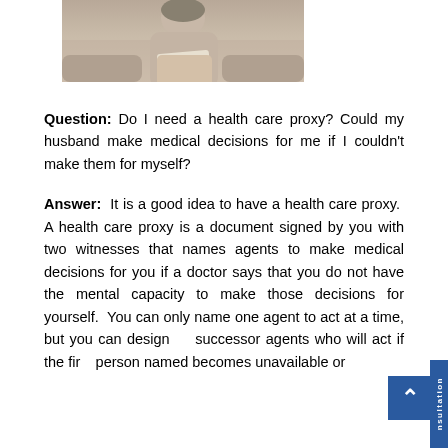[Figure (photo): Partial photo of a woman reading or holding a document, cropped at top of page]
Question: Do I need a health care proxy? Could my husband make medical decisions for me if I couldn't make them for myself?
Answer: It is a good idea to have a health care proxy. A health care proxy is a document signed by you with two witnesses that names agents to make medical decisions for you if a doctor says that you do not have the mental capacity to make those decisions for yourself. You can only name one agent to act at a time, but you can designate successor agents who will act if the first person named becomes unavailable or